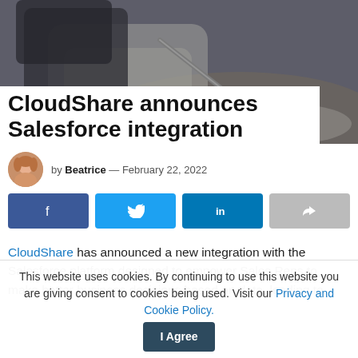[Figure (photo): Hero image of a person in business attire writing with a pen on paper, dark/muted tones]
CloudShare announces Salesforce integration
by Beatrice — February 22, 2022
[Figure (infographic): Social share buttons: Facebook, Twitter, LinkedIn, and a share icon]
CloudShare has announced a new integration with the Salesforce platform designed to empower Sales Reps to make better business decisions based on data, leading to
This website uses cookies. By continuing to use this website you are giving consent to cookies being used. Visit our Privacy and Cookie Policy.